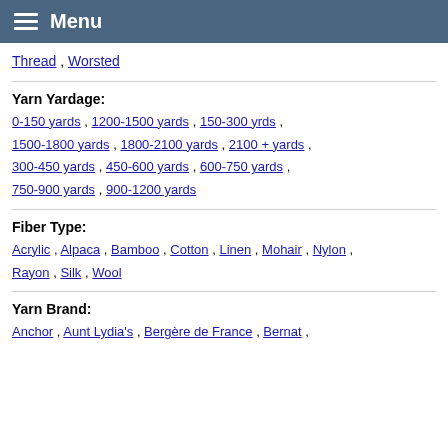Menu
Thread , Worsted
Yarn Yardage:
0-150 yards , 1200-1500 yards , 150-300 yrds , 1500-1800 yards , 1800-2100 yards , 2100 + yards , 300-450 yards , 450-600 yards , 600-750 yards , 750-900 yards , 900-1200 yards
Fiber Type:
Acrylic , Alpaca , Bamboo , Cotton , Linen , Mohair , Nylon , Rayon , Silk , Wool
Yarn Brand:
Anchor , Aunt Lydia's , Bergère de France , Bernat ,